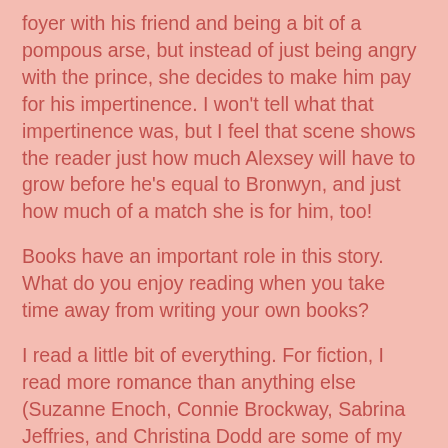foyer with his friend and being a bit of a pompous arse, but instead of just being angry with the prince, she decides to make him pay for his impertinence. I won't tell what that impertinence was, but I feel that scene shows the reader just how much Alexsey will have to grow before he's equal to Bronwyn, and just how much of a match she is for him, too!
Books have an important role in this story.  What do you enjoy reading when you take time away from writing your own books?
I read a little bit of everything. For fiction, I read more romance than anything else (Suzanne Enoch, Connie Brockway, Sabrina Jeffries, and Christina Dodd are some of my favorites), but I also love fantasy, thrillers, and mystery. For non-fiction, I love history books and biographies. Right now, I'm reading a biography of George Washington, which is simply fascinating as he was a figure during the